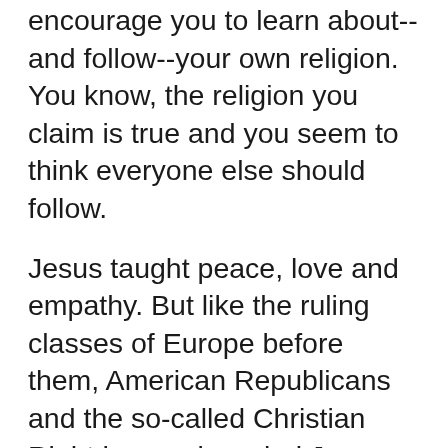encourage you to learn about--and follow--your own religion.  You know, the religion you claim is true and you seem to think everyone else should follow.
Jesus taught peace, love and empathy. But like the ruling classes of Europe before them, American Republicans and the so-called Christian Right have rebranded Jesus, bastardized him for their own gain. Someone's profiting from this rebranding effort, and it's not the poor, the sick or the homeless.
The Jesus evangelical Christians follow is a total asshole, pretty much the opposite of